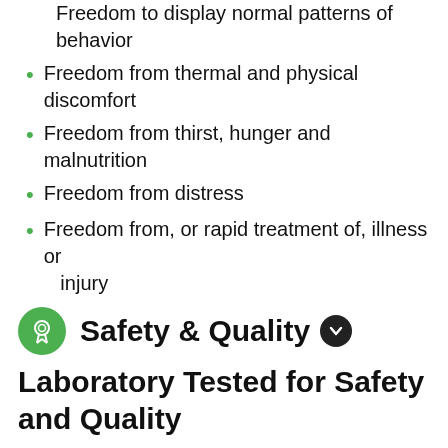Freedom to display normal patterns of behavior
Freedom from thermal and physical discomfort
Freedom from thirst, hunger and malnutrition
Freedom from distress
Freedom from, or rapid treatment of, illness or injury
Safety & Quality
Laboratory Tested for Safety and Quality
Theland Whole UHT milk, 3.6g protein/100ml is laboratory tested for quality and safety throughout the production process using both factory (in-house) and independent, accredited laboratories.
Testing is undertaken at each step from raw milk